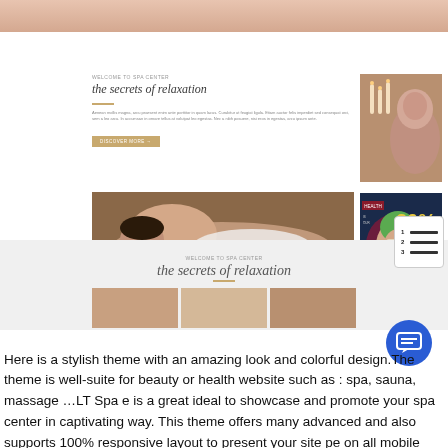[Figure (screenshot): Website screenshot showing a spa/wellness theme called 'the secrets of relaxation' with images of women receiving massages, a promo badge with 20% off, and a list icon. Below is a second view of the same theme with the title repeated.]
Here is a stylish theme with an amazing look and colorful design.The theme is well-suite for beauty or health website such as : spa, sauna, massage …LT Spa e is a great ideal to showcase and promote your spa center in captivating way. This theme offers many advanced and also supports 100% responsive layout to present your site pe on all mobile devices. There are also more exciting features waiting for you